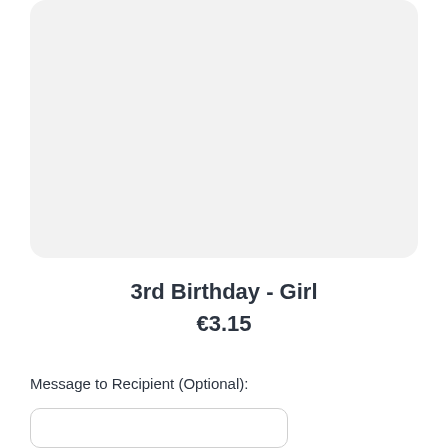[Figure (other): Light gray rounded rectangle placeholder image area for a birthday card product]
3rd Birthday - Girl
€3.15
Message to Recipient (Optional):
[Figure (other): Text input box for message to recipient]